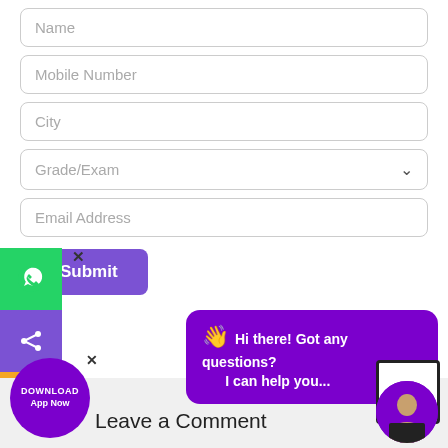[Figure (screenshot): Web form with input fields: Name, Mobile Number, City, Grade/Exam dropdown, Email Address, and a Submit button. Left sidebar with WhatsApp, Share, and Phone icons. A purple chat bubble saying 'Hi there! Got any questions? I can help you...'. A scroll-up arrow button. A 'DOWNLOAD App Now' circular badge. A user avatar. A 'Leave a Comment' section header at the bottom.]